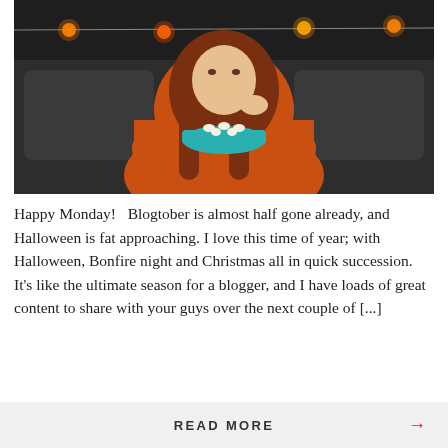[Figure (photo): A young woman wearing an orange hoodie sitting on a dark couch, holding a teal bowl of popcorn and eating from it. Halloween pumpkin string lights are visible in the background.]
Happy Monday!   Blogtober is almost half gone already, and Halloween is fat approaching. I love this time of year; with Halloween, Bonfire night and Christmas all in quick succession. It's like the ultimate season for a blogger, and I have loads of great content to share with your guys over the next couple of [...]
READ MORE →